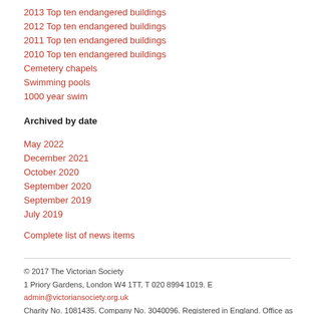2013 Top ten endangered buildings
2012 Top ten endangered buildings
2011 Top ten endangered buildings
2010 Top ten endangered buildings
Cemetery chapels
Swimming pools
1000 year swim
Archived by date
May 2022
December 2021
October 2020
September 2020
September 2019
July 2019
Complete list of news items
© 2017 The Victorian Society
1 Priory Gardens, London W4 1TT. T 020 8994 1019. E admin@victoriansociety.org.uk
Charity No. 1081435. Company No. 3040096. Registered in England. Office as above